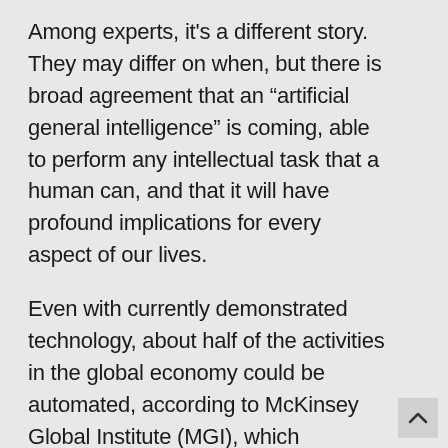Among experts, it's a different story. They may differ on when, but there is broad agreement that an “artificial general intelligence” is coming, able to perform any intellectual task that a human can, and that it will have profound implications for every aspect of our lives.
Even with currently demonstrated technology, about half of the activities in the global economy could be automated, according to McKinsey Global Institute (MGI), which analysed the automation potential of more than 2,000 work activities across 800 occupations. MGI